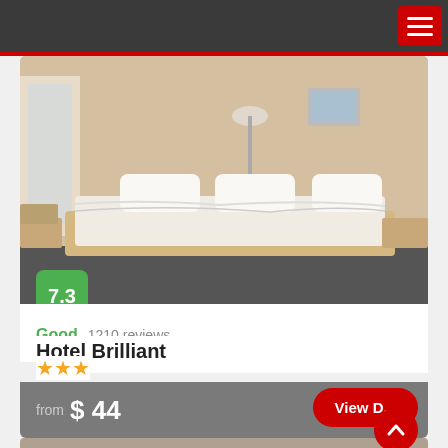[Figure (screenshot): Mobile hotel booking app screenshot showing Hotel Brilliant with a 7.3 Good rating, 1210 reviews, 3-star rating, and price from $44 with a View button]
7.3
Good  1210  reviews
Hotel Brilliant
★★★
from  $ 44
View D...